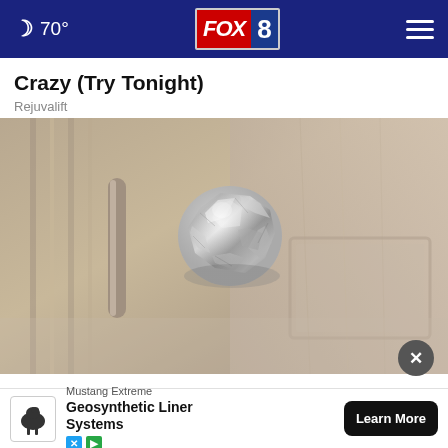🌙 70° | FOX 8
Crazy (Try Tonight)
Rejuvalift
[Figure (photo): A door knob wrapped in aluminum/tin foil, photographed close-up against a wooden interior door]
Wra... [partially visible] ...ne, Her... [partially visible]
Mustang Extreme
Geosynthetic Liner Systems
Learn More